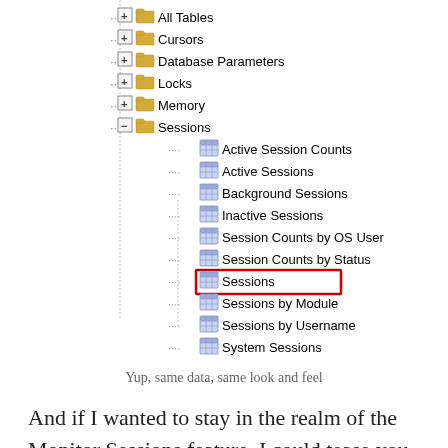[Figure (screenshot): Database tree view showing Sessions folder expanded with child items: Active Session Counts, Active Sessions, Background Sessions, Inactive Sessions, Session Counts by OS User, Session Counts by Status, Sessions (highlighted in red box), Sessions by Module, Sessions by Username, System Sessions. Also visible: All Tables, Cursors, Database Parameters, Locks, Memory (collapsed), Storage, Top SQL folders.]
Yup, same data, same look and feel
And if I wanted to stay in the realm of the Monitor Sessions feature, I could tease you a previous post on